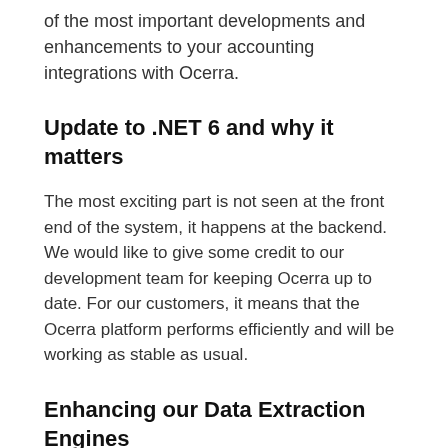of the most important developments and enhancements to your accounting integrations with Ocerra.
Update to .NET 6 and why it matters
The most exciting part is not seen at the front end of the system, it happens at the backend. We would like to give some credit to our development team for keeping Ocerra up to date. For our customers, it means that the Ocerra platform performs efficiently and will be working as stable as usual.
Enhancing our Data Extraction Engines